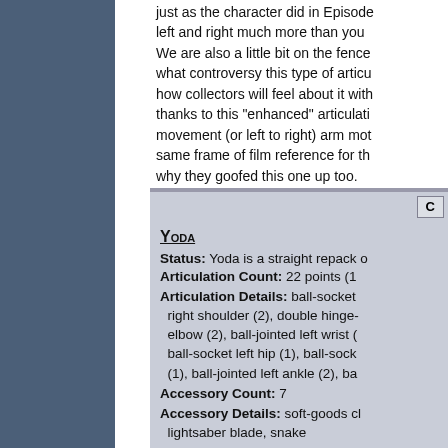just as the character did in Episode left and right much more than you We are also a little bit on the fence what controversy this type of articu how collectors will feel about it with thanks to this "enhanced" articulati movement (or left to right) arm mot same frame of film reference for th why they goofed this one up too.
Yoda
Status: Yoda is a straight repack o
Articulation Count: 22 points (1
Articulation Details: ball-socket right shoulder (2), double hinge- elbow (2), ball-jointed left wrist ( ball-socket left hip (1), ball-sock (1), ball-jointed left ankle (2), ba
Accessory Count: 7
Accessory Details: soft-goods cl lightsaber blade, snake